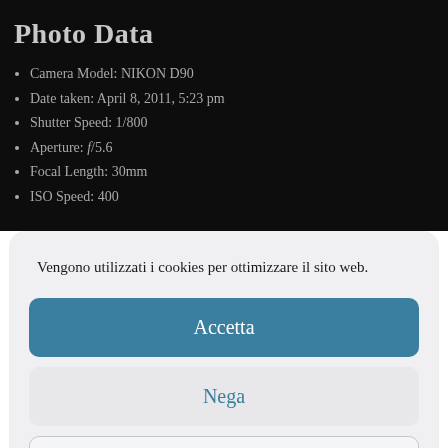Photo Data
Camera Model: NIKON D90
Date taken: April 8, 2011, 5:23 pm
Shutter Speed: 1/800
Aperture: f/5.6
Focal Length: 30mm
ISO Speed: 400
Vengono utilizzati i cookies per ottimizzare il sito web.
Accetta
Nega
Preferenze
Cookie Policy  Privacy Policy